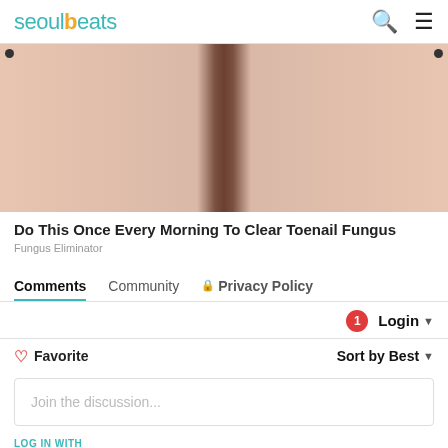seoulbeats
[Figure (photo): Advertisement image showing skin/body comparison before and after treatment]
Do This Once Every Morning To Clear Toenail Fungus
Fungus Eliminator
Comments  Community  Privacy Policy
1  Login
Favorite  Sort by Best
Join the discussion...
LOG IN WITH